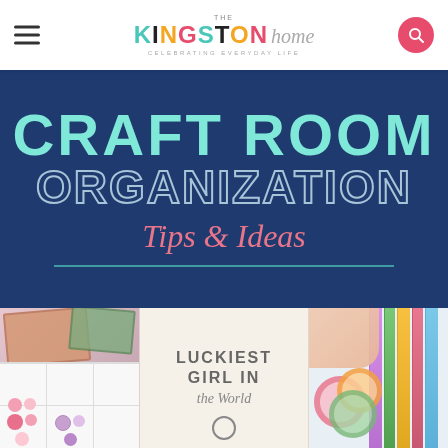THE KINGSTON home — CELEBRATING EVERYDAY LIFE
[Figure (illustration): Website header with hamburger menu icon, The Kingston Home logo with colorful letters, and pink search button]
CRAFT ROOM ORGANIZATION Tips & Ideas
[Figure (photo): Three photos side by side: left shows white cubby shelves with pink balls and craft supplies; center shows a sign reading LUCKIEST GIRL IN the World; right shows colorful washi tape rolls and craft paper being organized]